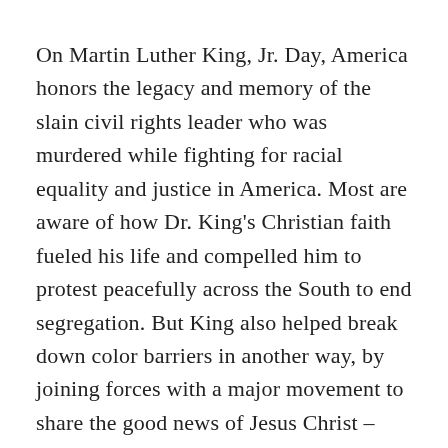On Martin Luther King, Jr. Day, America honors the legacy and memory of the slain civil rights leader who was murdered while fighting for racial equality and justice in America. Most are aware of how Dr. King's Christian faith fueled his life and compelled him to protest peacefully across the South to end segregation. But King also helped break down color barriers in another way, by joining forces with a major movement to share the good news of Jesus Christ – Rev. Billy Graham's evangelistic crusades.
In 1957, despite segregation and racial tensions…